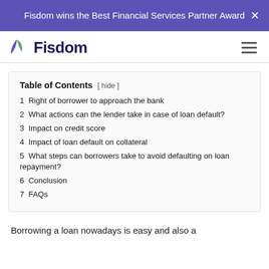Fisdom wins the Best Financial Services Partner Award
[Figure (logo): Fisdom logo with purple and green leaf icon and dark blue bold text 'Fisdom']
1 Right of borrower to approach the bank
2 What actions can the lender take in case of loan default?
3 Impact on credit score
4 Impact of loan default on collateral
5 What steps can borrowers take to avoid defaulting on loan repayment?
6 Conclusion
7 FAQs
Borrowing a loan nowadays is easy and also a